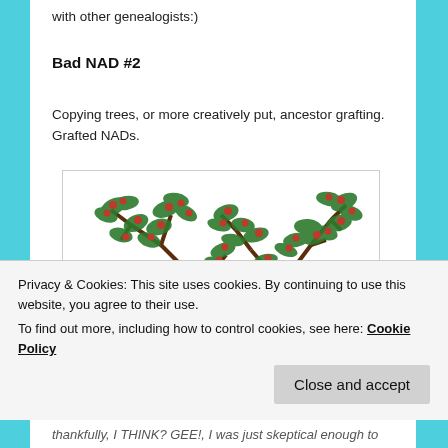with other genealogists:)
Bad NAD #2
Copying trees, or more creatively put, ancestor grafting. Grafted NADs.
[Figure (photo): Photo of two plant branches with green leaves and red berries on a white background]
Privacy & Cookies: This site uses cookies. By continuing to use this website, you agree to their use.
To find out more, including how to control cookies, see here: Cookie Policy
thankfully, I THINK? GEE!, I was just skeptical enough to